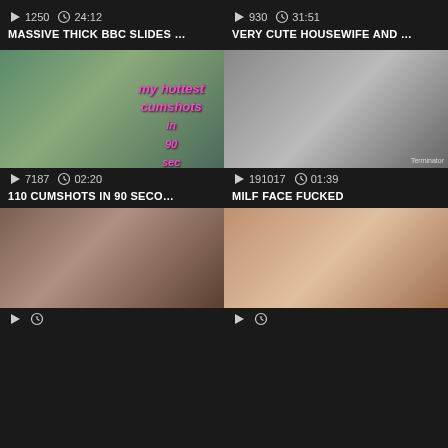[Figure (screenshot): Video thumbnail - top left card, stats: 1250 views, 24:12 duration]
MASSIVE THICK BBC SLIDES …
[Figure (screenshot): Video thumbnail - top right card, stats: 930 views, 31:51 duration]
VERY CUTE HOUSEWIFE AND …
[Figure (screenshot): Video thumbnail with overlay text 'my hottest cumshots in 90 sec', stats: 7187 views, 02:20 duration]
110 CUMSHOTS IN 90 SECO…
[Figure (screenshot): Video thumbnail - right middle card, stats: 191017 views, 01:39 duration]
MILF FACE FUCKED
[Figure (screenshot): Video thumbnail - bottom left partial card]
[Figure (screenshot): Video thumbnail - bottom right partial card]